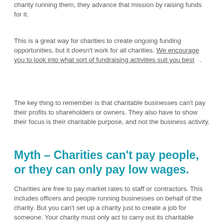charity running them, they advance that mission by raising funds for it.
This is a great way for charities to create ongoing funding opportunities, but it doesn't work for all charities. We encourage you to look into what sort of fundraising activities suit you best .
The key thing to remember is that charitable businesses can't pay their profits to shareholders or owners. They also have to show their focus is their charitable purpose, and not the business activity.
Myth – Charities can't pay people, or they can only pay low wages.
Charities are free to pay market rates to staff or contractors. This includes officers and people running businesses on behalf of the charity. But you can't set up a charity just to create a job for someone. Your charity must only act to carry out its charitable purpose.